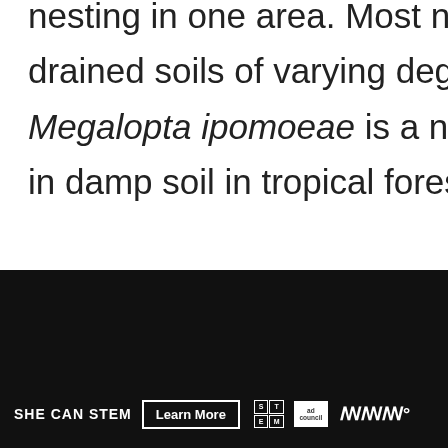nesting in one area. Most nest in the ground, in well drained soils of varying degrees of slope; however Megalopta ipomoeae is a nocturnal bee which nests in damp soil in tropical forests.
[Figure (screenshot): Social media UI elements: heart/like button (blue circle), like count of 1, share button. What's Next panel with thumbnail and 'Stick Bugs 101: The...' text. Bottom advertisement bar for SHE CAN STEM with Learn More button, STEM grid logo, ad council logo, and network logo.]